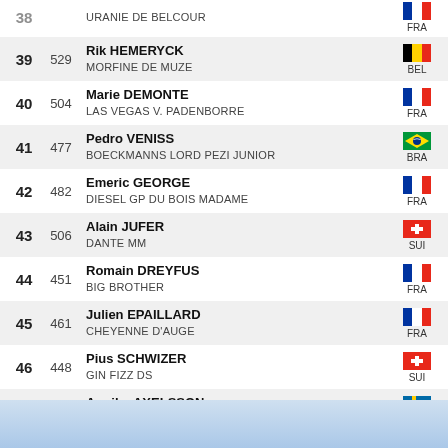| Rank | Num | Rider / Horse | Country |
| --- | --- | --- | --- |
| 38 |  | URANIE DE BELCOUR | FRA |
| 39 | 529 | Rik HEMERYCK / MORFINE DE MUZE | BEL |
| 40 | 504 | Marie DEMONTE / LAS VEGAS V. PADENBORRE | FRA |
| 41 | 477 | Pedro VENISS / BOECKMANNS LORD PEZI JUNIOR | BRA |
| 42 | 482 | Emeric GEORGE / DIESEL GP DU BOIS MADAME | FRA |
| 43 | 506 | Alain JUFER / DANTE MM | SUI |
| 44 | 451 | Romain DREYFUS / BIG BROTHER | FRA |
| 45 | 461 | Julien EPAILLARD / CHEYENNE D'AUGE | FRA |
| 46 | 448 | Pius SCHWIZER / GIN FIZZ DS | SUI |
| 47 | 509 | Annika AXELSSON / CLEO Z | SWE |
| 48 | 442 | Penelope LEPREVOST / GFE CANDY DE NANTUEL | FRA |